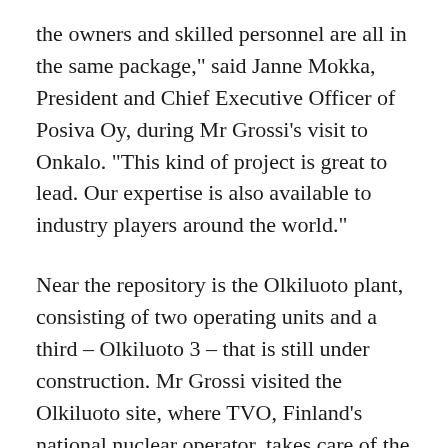the owners and skilled personnel are all in the same package," said Janne Mokka, President and Chief Executive Officer of Posiva Oy, during Mr Grossi's visit to Onkalo. "This kind of project is great to lead. Our expertise is also available to industry players around the world."
Near the repository is the Olkiluoto plant, consisting of two operating units and a third – Olkiluoto 3 – that is still under construction. Mr Grossi visited the Olkiluoto site, where TVO, Finland's national nuclear operator, takes care of the entire nuclear fuel cycle: from electricity production to the final disposal of spent nuclear fuel. In Olkiluoto he met President and Chief